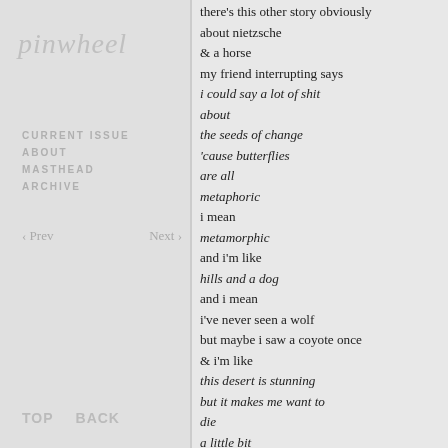pinwheel
CURRENT ISSUE
ABOUT
MASTHEAD
ARCHIVE
‹ Prev    Next ›
there's this other story obviously
about nietzsche
& a horse
my friend interrupting says
i could say a lot of shit
about
the seeds of change
'cause butterflies
are all
metaphoric
i mean
metamorphic
and i'm like
hills and a dog
and i mean
i've never seen a wolf
but maybe i saw a coyote once
& i'm like
this desert is stunning
but it makes me want to
die
a little bit
but anyway
the thing about nietzsche
is
they say
TOP   BACK